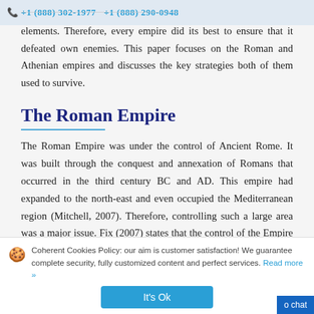+1 (888) 302-1977   +1 (888) 290-0948
elements. Therefore, every empire did its best to ensure that it defeated own enemies. This paper focuses on the Roman and Athenian empires and discusses the key strategies both of them used to survive.
The Roman Empire
The Roman Empire was under the control of Ancient Rome. It was built through the conquest and annexation of Romans that occurred in the third century BC and AD. This empire had expanded to the north-east and even occupied the Mediterranean region (Mitchell, 2007). Therefore, controlling such a large area was a major issue. Fix (2007) states that the control of the Empire was achieved through
Coherent Cookies Policy: our aim is customer satisfaction! We guarantee complete security, fully customized content and perfect services. Read more »